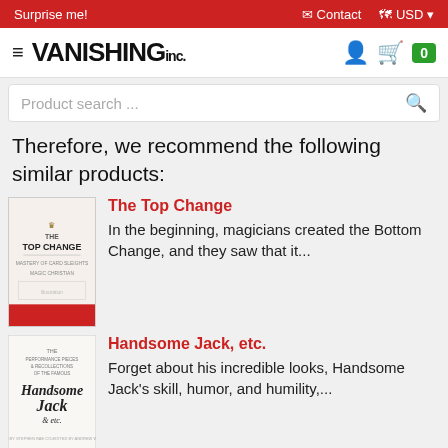Surprise me!  Contact  USD
[Figure (logo): Vanishing Inc. logo with hamburger menu, person icon, cart icon with 0]
[Figure (other): Product search bar]
Therefore, we recommend the following similar products:
[Figure (photo): The Top Change book cover]
The Top Change
In the beginning, magicians created the Bottom Change, and they saw that it...
[Figure (photo): Handsome Jack, etc. book cover]
Handsome Jack, etc.
Forget about his incredible looks, Handsome Jack's skill, humor, and humility,...
[Figure (photo): Red Herring book cover - black and white photo of bald man]
Red Herring
Ben Earl caused a SENSATION last year